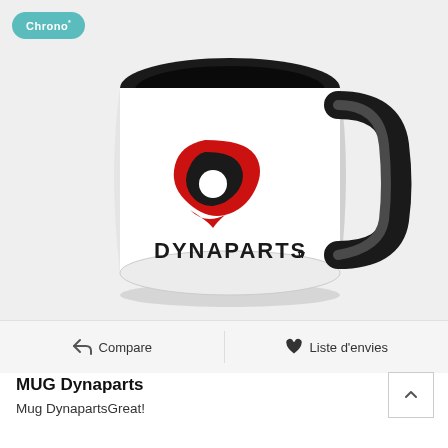[Figure (photo): A white ceramic mug with black interior, black handle, featuring the Dynaparts logo (red shield with stylized D and 'DYNAPARTS.fr' text) on the exterior. Photographed at an angle on a light gray background.]
Chrono*
Compare
Liste d'envies
MUG Dynaparts
Mug DynapartsGreat!